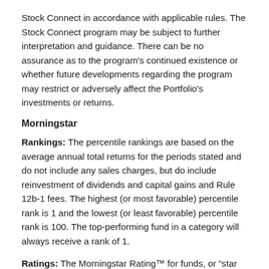Stock Connect in accordance with applicable rules. The Stock Connect program may be subject to further interpretation and guidance. There can be no assurance as to the program's continued existence or whether future developments regarding the program may restrict or adversely affect the Portfolio's investments or returns.
Morningstar
Rankings: The percentile rankings are based on the average annual total returns for the periods stated and do not include any sales charges, but do include reinvestment of dividends and capital gains and Rule 12b-1 fees. The highest (or most favorable) percentile rank is 1 and the lowest (or least favorable) percentile rank is 100. The top-performing fund in a category will always receive a rank of 1.
Ratings: The Morningstar Rating™ for funds, or "star rating", is calculated for managed products (including mutual funds, variable annuity and variable life subaccounts, exchange-traded funds, closed-end funds, and separate accounts) with at least a three-year history. Exchange-traded funds and open-ended mutual funds are considered